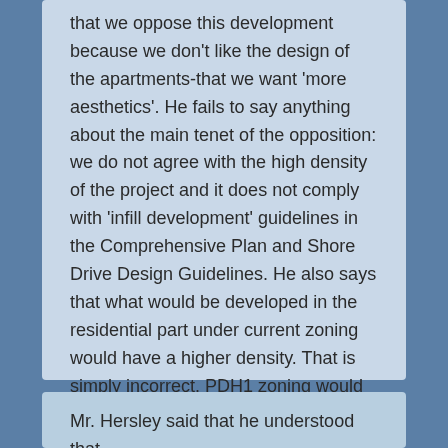that we oppose this development because we don't like the design of the apartments-that we want 'more aesthetics'. He fails to say anything about the main tenet of the opposition: we do not agree with the high density of the project and it does not comply with 'infill development' guidelines in the Comprehensive Plan and Shore Drive Design Guidelines. He also says that what would be developed in the residential part under current zoning would have a higher density. That is simply incorrect. PDH1 zoning would not allow 40 units per acre.
Mr. Hersley said that he understood that